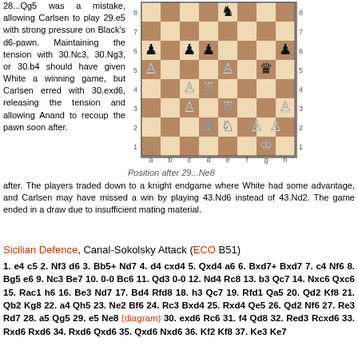28...Qg5 was a mistake, allowing Carlsen to play 29.e5 with strong pressure on Black's d6-pawn. Maintaining the tension with 30.Nc3, 30.Ng3, or 30.b4 should have given White a winning game, but Carlsen erred with 30.exd6, releasing the tension and allowing Anand to recoup the pawn soon after. The players traded down to a knight endgame where White had some advantage, and Carlsen may have missed a win by playing 43.Nd6 instead of 43.Nd2. The game ended in a draw due to insufficient mating material.
[Figure (other): Chess board diagram showing position after 29...Ne8]
Position after 29...Ne8
Sicilian Defence, Canal-Sokolsky Attack (ECO B51)
1. e4 c5 2. Nf3 d6 3. Bb5+ Nd7 4. d4 cxd4 5. Qxd4 a6 6. Bxd7+ Bxd7 7. c4 Nf6 8. Bg5 e6 9. Nc3 Be7 10. 0-0 Bc6 11. Qd3 0-0 12. Nd4 Rc8 13. b3 Qc7 14. Nxc6 Qxc6 15. Rac1 h6 16. Be3 Nd7 17. Bd4 Rfd8 18. h3 Qc7 19. Rfd1 Qa5 20. Qd2 Kf8 21. Qb2 Kg8 22. a4 Qh5 23. Ne2 Bf6 24. Rc3 Bxd4 25. Rxd4 Qe5 26. Qd2 Nf6 27. Re3 Rd7 28. a5 Qg5 29. e5 Ne8 (diagram) 30. exd6 Rc6 31. f4 Qd8 32. Red3 Rcxd6 33. Rxd6 Rxd6 34. Rxd6 Qxd6 35. Qxd6 Nxd6 36. Kf2 Kf8 37. Ke3 Ke7